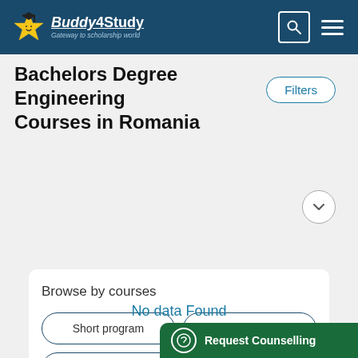[Figure (logo): Buddy4Study logo with star mascot and tagline 'Gateway to scholarship world']
Bachelors Degree Engineering Courses in Romania
Filters
Browse by courses
Short program
UG Diploma
PG Diploma
Bachelors Degree
Masters Degree
PhD
No data Found
Request Counselling